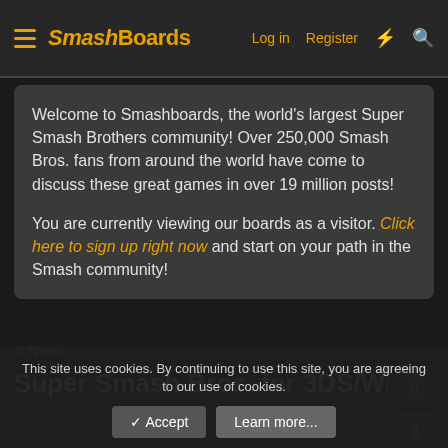SmashBoards — Log in  Register
Welcome to Smashboards, the world's largest Super Smash Brothers community! Over 250,000 Smash Bros. fans from around the world have come to discuss these great games in over 19 million posts!

You are currently viewing our boards as a visitor. Click here to sign up right now and start on your path in the Smash community!
News
Super Smash Bros. for 3DS/Wii U Patch 1.1
This site uses cookies. By continuing to use this site, you are agreeing to our use of cookies.